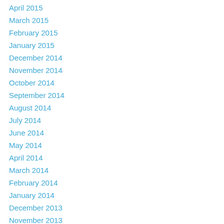April 2015
March 2015
February 2015
January 2015
December 2014
November 2014
October 2014
September 2014
August 2014
July 2014
June 2014
May 2014
April 2014
March 2014
February 2014
January 2014
December 2013
November 2013
July 2013
June 2013